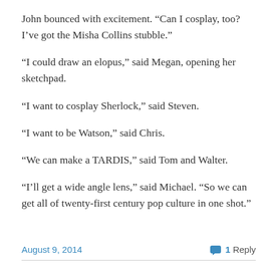John bounced with excitement. “Can I cosplay, too? I’ve got the Misha Collins stubble.”
“I could draw an elopus,” said Megan, opening her sketchpad.
“I want to cosplay Sherlock,” said Steven.
“I want to be Watson,” said Chris.
“We can make a TARDIS,” said Tom and Walter.
“I’ll get a wide angle lens,” said Michael. “So we can get all of twenty-first century pop culture in one shot.”
August 9, 2014   1 Reply